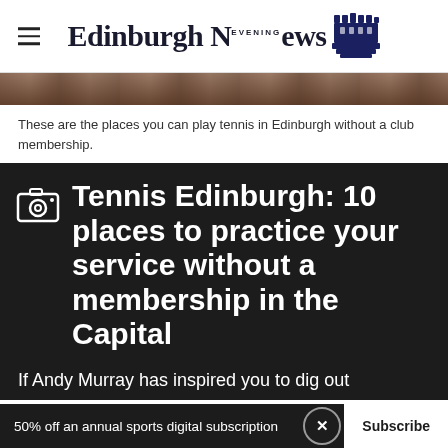Edinburgh Evening News
[Figure (photo): Partial view of a tennis court or outdoor scene, cropped strip at top of article]
These are the places you can play tennis in Edinburgh without a club membership.
Tennis Edinburgh: 10 places to practice your service without a membership in the Capital
If Andy Murray has inspired you to dig out
50% off an annual sports digital subscription  Subscribe